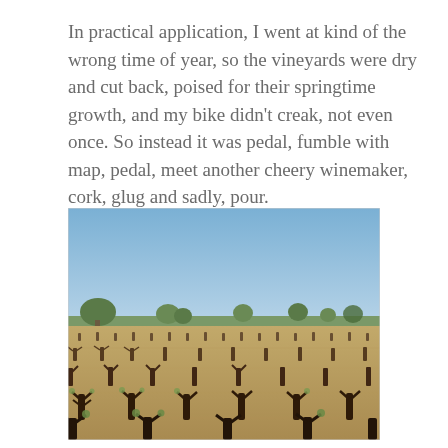In practical application, I went at kind of the wrong time of year, so the vineyards were dry and cut back, poised for their springtime growth, and my bike didn't creak, not even once. So instead it was pedal, fumble with map, pedal, meet another cheery winemaker, cork, glug and sadly, pour.
[Figure (photo): A vineyard with rows of low, bare-branched grapevines on dry sandy soil under a clear blue sky, with scattered trees visible along the horizon.]